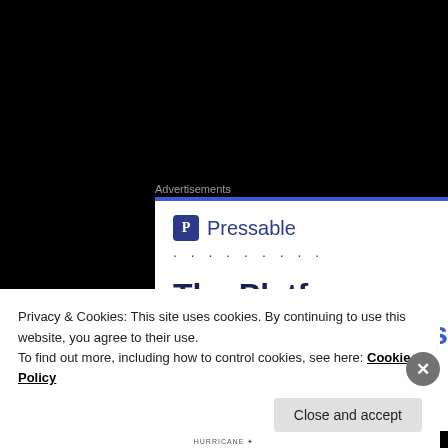Advertisements
[Figure (screenshot): Pressable advertisement banner showing logo with 'P' icon, dotted separator, and headline 'The Platform Where WordPress' in dark blue and blue text]
ANTHONY FERNANDEZ
February 20, 2013 at 4:30 PM
Privacy & Cookies: This site uses cookies. By continuing to use this website, you agree to their use.
To find out more, including how to control cookies, see here: Cookie Policy
Close and accept